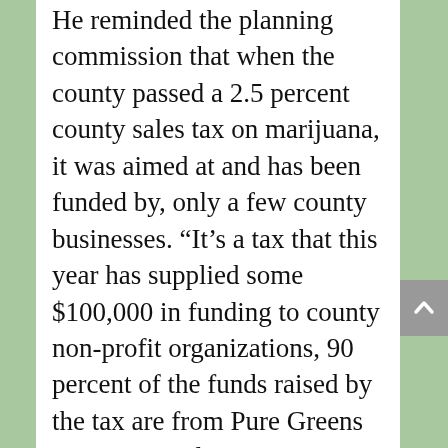He reminded the planning commission that when the county passed a 2.5 percent county sales tax on marijuana, it was aimed at and has been funded by, only a few county businesses. “It’s a tax that this year has supplied some $100,000 in funding to county non-profit organizations, 90 percent of the funds raised by the tax are from Pure Greens activities, and given to entities to which we cannot directly make donations.”
During deliberation, planning commission debated whether to simply approve it, or deny and direct